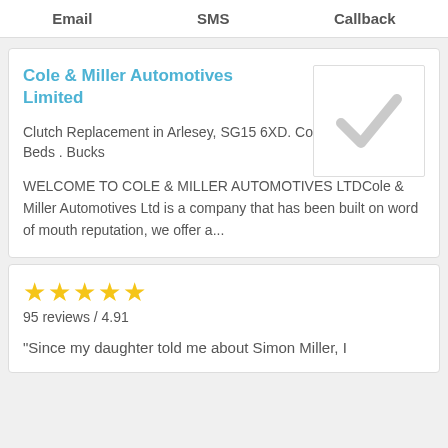Email   SMS   Callback
Cole & Miller Automotives Limited
Clutch Replacement in Arlesey, SG15 6XD. Covering Herts . Beds . Bucks
[Figure (illustration): A grey checkmark inside a white bordered box]
WELCOME TO COLE & MILLER AUTOMOTIVES LTDCole & Miller Automotives Ltd is a company that has been built on word of mouth reputation, we offer a...
95 reviews / 4.91
"Since my daughter told me about Simon Miller, I